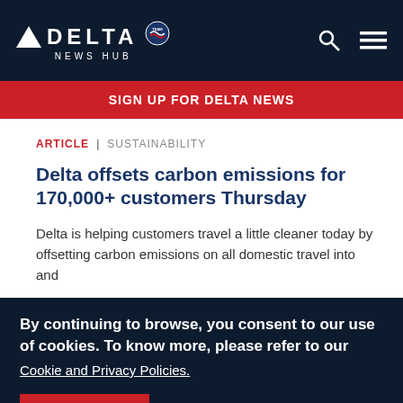DELTA NEWS HUB
SIGN UP FOR DELTA NEWS
ARTICLE | SUSTAINABILITY
Delta offsets carbon emissions for 170,000+ customers Thursday
Delta is helping customers travel a little cleaner today by offsetting carbon emissions on all domestic travel into and
By continuing to browse, you consent to our use of cookies. To know more, please refer to our Cookie and Privacy Policies.
I AGREE  No, thanks